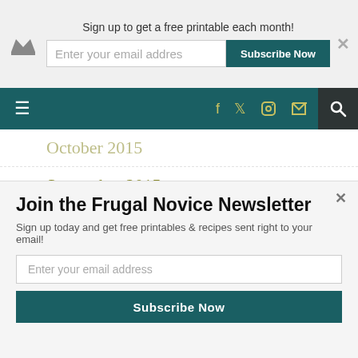Sign up to get a free printable each month! Enter your email addres  Subscribe Now
[Figure (screenshot): Navigation bar with hamburger menu, social icons (Facebook, Twitter, Instagram, RSS), and search icon on dark teal background]
October 2015
September 2015
August 2015
July 2015
June 2015
May 2015
Join the Frugal Novice Newsletter
Sign up today and get free printables & recipes sent right to your email!
Enter your email address
Subscribe Now